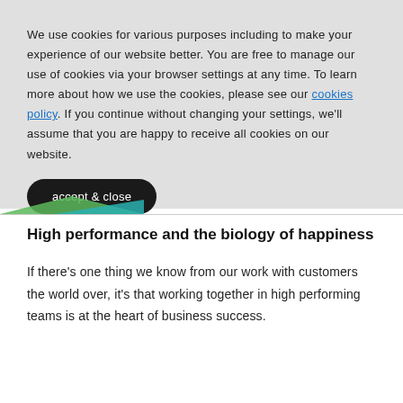We use cookies for various purposes including to make your experience of our website better. You are free to manage our use of cookies via your browser settings at any time. To learn more about how we use the cookies, please see our cookies policy. If you continue without changing your settings, we'll assume that you are happy to receive all cookies on our website.
accept & close
High performance and the biology of happiness
If there's one thing we know from our work with customers the world over, it's that working together in high performing teams is at the heart of business success.